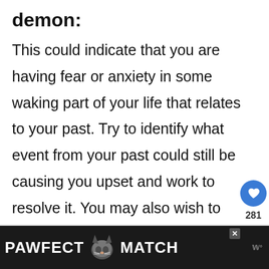demon:
This could indicate that you are having fear or anxiety in some waking part of your life that relates to your past. Try to identify what event from your past could still be causing you upset and work to resolve it. You may also wish to look at our dream meaning for being chased.
[Figure (infographic): Advertisement banner at bottom: PAWFECT MATCH with cat face icon, dark background, close button, and logo mark on right]